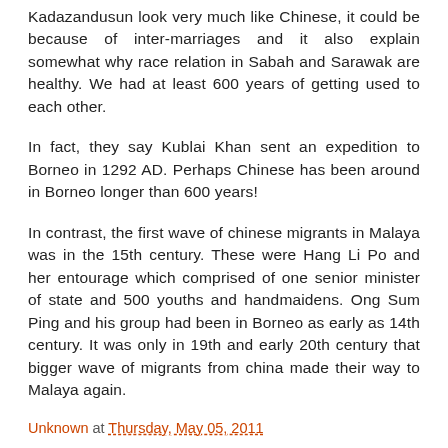Kadazandusun look very much like Chinese, it could be because of inter-marriages and it also explain somewhat why race relation in Sabah and Sarawak are healthy. We had at least 600 years of getting used to each other.
In fact, they say Kublai Khan sent an expedition to Borneo in 1292 AD. Perhaps Chinese has been around in Borneo longer than 600 years!
In contrast, the first wave of chinese migrants in Malaya was in the 15th century. These were Hang Li Po and her entourage which comprised of one senior minister of state and 500 youths and handmaidens. Ong Sum Ping and his group had been in Borneo as early as 14th century. It was only in 19th and early 20th century that bigger wave of migrants from china made their way to Malaya again.
Unknown at Thursday, May 05, 2011
Share